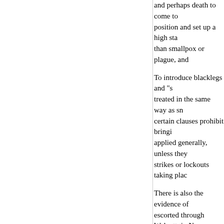and perhaps death to come to position and set up a high sta than smallpox or plague, and
To introduce blacklegs and "s treated in the same way as sn certain clauses prohibit bringi applied generally, unless they strikes or lockouts taking plac
There is also the evidence of escorted through Walgett, in N situation, a number of union m footpath threw a stone at the fined £1. Thus the opinion of t
penalty of twenty shillings me interviewed the "scabs." He th thirteen were sentenced to te men, whilst the man who had
In one place in Queensland in There was no disturbance, b